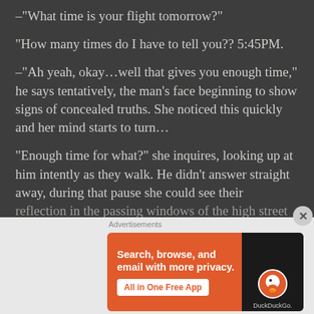-“What time is your flight tomorrow?”
“How many times do I have to tell you?? 5:45PM.
-“Ah yeah, okay…well that gives you enough time,” he says tentatively, the man’s face beginning to show signs of concealed truths. She noticed this quickly and her mind starts to turn…
“Enough time for what?” she inquires, looking up at him intently as they walk. He didn’t answer straight away, during that pause she could see their reflection in the passing windows of the high street
Advertisements
[Figure (other): DuckDuckGo advertisement banner: Search, browse, and email with more privacy. All in One Free App. Shows a smartphone with DuckDuckGo logo.]